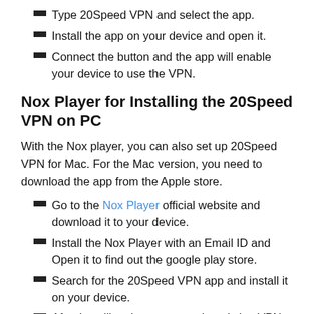Type 20Speed VPN and select the app.
Install the app on your device and open it.
Connect the button and the app will enable your device to use the VPN.
Nox Player for Installing the 20Speed VPN on PC
With the Nox player, you can also set up 20Speed VPN for Mac. For the Mac version, you need to download the app from the Apple store.
Go to the Nox Player official website and download it to your device.
Install the Nox Player with an Email ID and Open it to find out the google play store.
Search for the 20Speed VPN app and install it on your device.
After installing the app, open it and sign VPN...